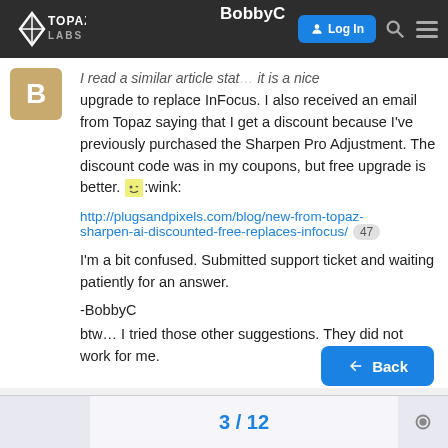Topaz Labs forum navigation bar with Log In button
I read a similar article stating it is a free upgrade to replace InFocus. I also received an email from Topaz saying that I get a discount because I've previously purchased the Sharpen Pro Adjustment. The discount code was in my coupons, but free upgrade is better. :wink:
http://plugsandpixels.com/blog/new-from-topaz-sharpen-ai-discounted-free-replaces-infocus/ 47
I'm a bit confused. Submitted support ticket and waiting patiently for an answer.
-BobbyC
btw… I tried those other suggestions. They did not work for me.
3 / 12